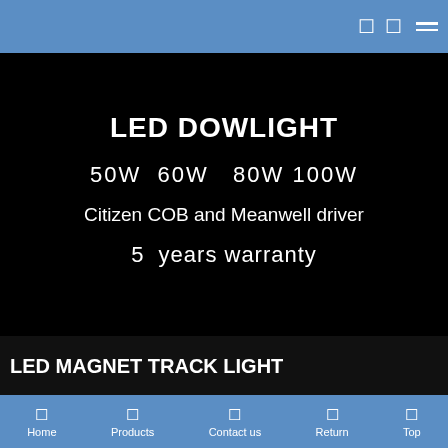Navigation header with icons and hamburger menu
LED DOWLIGHT
50W  60W   80W 100W
Citizen COB and Meanwell driver
5  years warranty
More →
LED MAGNET TRACK LIGHT
Home  Products  Contact us  Return  Top